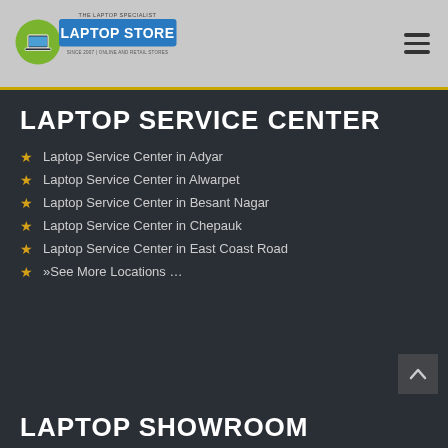[Figure (logo): The Laptop Specialist - Laptop Store logo, Since 2007, Online and Retail Stores]
LAPTOP SERVICE CENTER
Laptop Service Center in Adyar
Laptop Service Center in Alwarpet
Laptop Service Center in Besant Nagar
Laptop Service Center in Chepauk
Laptop Service Center in East Coast Road
»See More Locations …
LAPTOP SHOWROOM